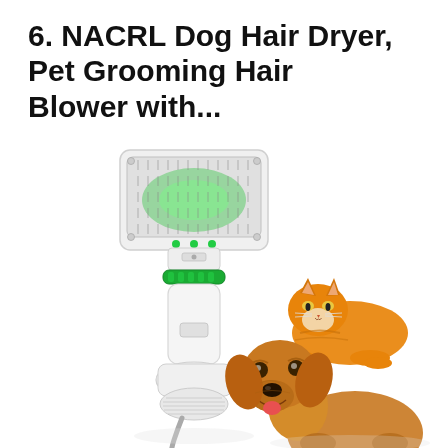6. NACRL Dog Hair Dryer, Pet Grooming Hair Blower with...
[Figure (photo): Product photo of a white NACRL pet grooming hair dryer/blower with a brush attachment on top featuring green LED lights, a green ring around the handle, and ventilation slots at the base. To the right side of the dryer is an orange tabby cat lying down in the upper right area, and a golden retriever dog sitting/lying and smiling in the lower right area.]